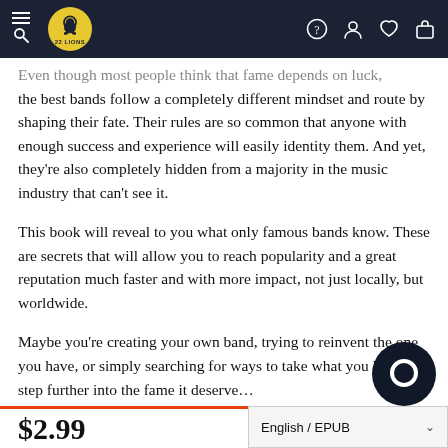22 LIONS — Navigation bar with menu, logo, search, account, wishlist, cart icons
Even though most people think that fame depends on luck, the best bands follow a completely different mindset and route by shaping their fate. Their rules are so common that anyone with enough success and experience will easily identity them. And yet, they're also completely hidden from a majority in the music industry that can't see it.
This book will reveal to you what only famous bands know. These are secrets that will allow you to reach popularity and a great reputation much faster and with more impact, not just locally, but worldwide.
Maybe you're creating your own band, trying to reinvent the one you have, or simply searching for ways to take what you have one step further into the fame it deserve…
$2.99
English / EPUB